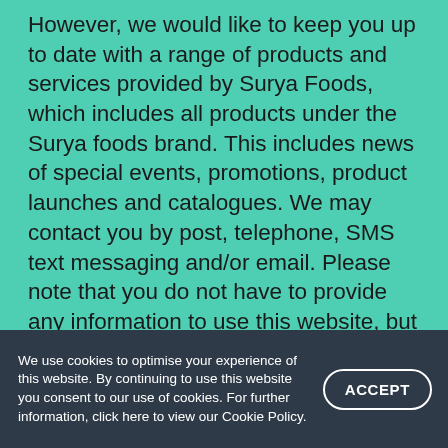However, we would like to keep you up to date with a range of products and services provided by Surya Foods, which includes all products under the Surya foods brand. This includes news of special events, promotions, product launches and catalogues. We may contact you by post, telephone, SMS text messaging and/or email. Please note that you do not have to provide any information to use this website, but if you do choose to withhold essential data you will not be able to access certain sections or facilities within the site. You should be aware that this site is being monitored and may capture information about your visit that will help us improve the quality of our service. We confirm that any personal information that you provide to us (or which is available on public registers)
We use cookies to optimise your experience of this website. By continuing to use this website you consent to our use of cookies. For further information, click here to view our Cookie Policy.